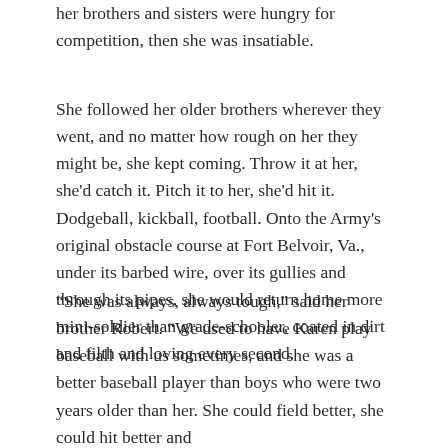her brothers and sisters were hungry for competition, then she was insatiable.
She followed her older brothers wherever they went, and no matter how rough on her they might be, she kept coming. Throw it at her, she'd catch it. Pitch it to her, she'd hit it. Dodgeball, kickball, football. Onto the Army's original obstacle course at Fort Belvoir, Va., under its barbed wire, over its gullies and through its pipes, she would return home more mini-soldier than grade-schooler, coated in dirt and filth and loving every second.
“She was always, always tough,” said her brother Robert. “We used to have Karen play baseball with us sometimes, and she was a better baseball player than boys who were two years older than her. She could field better, she could hit better and she could throw better. Every day we played softball with some of the